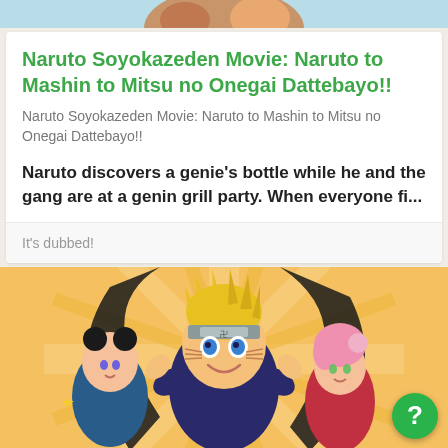[Figure (photo): Top strip showing partial anime character image at the top of the page]
Naruto Soyokazeden Movie: Naruto to Mashin to Mitsu no Onegai Dattebayo!!
Naruto Soyokazeden Movie: Naruto to Mashin to Mitsu no Onegai Dattebayo!!
Naruto discovers a genie's bottle while he and the gang are at a genin grill party. When everyone fi...
It's dubbed!
[Figure (illustration): Anime illustration showing Naruto with yellow spiky hair and blue eyes in the center, with two other characters on either side, against an orange sunburst background. A green help button with '?' is in the bottom right corner.]